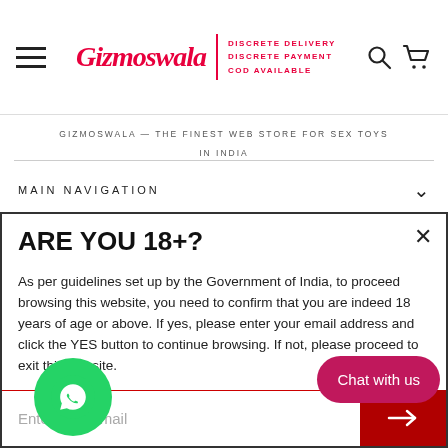Gizmoswala | DISCRETE DELIVERY DISCRETE PAYMENT COD AVAILABLE
GIZMOSWALA — THE FINEST WEB STORE FOR SEX TOYS IN INDIA
MAIN NAVIGATION
ARE YOU 18+?
As per guidelines set up by the Government of India, to proceed browsing this website, you need to confirm that you are indeed 18 years of age or above. If yes, please enter your email address and click the YES button to continue browsing. If not, please proceed to exit this website.
Enter your email
Chat with us